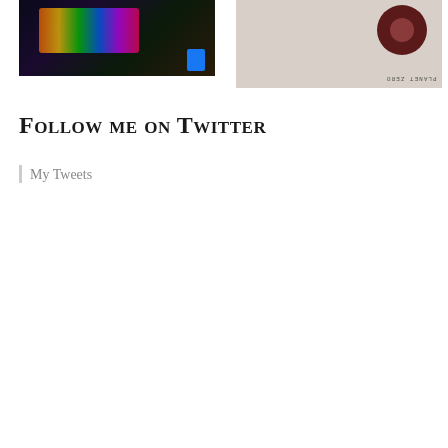[Figure (photo): Left photo: dark background with colorful arcade-style graphic elements and a blue Facebook icon in the lower right corner]
[Figure (photo): Right photo: vinyl record sleeve on light/white background with a dark maroon record partially visible at top; text 'PLANET ZERO' visible upside down at bottom right]
Follow me on Twitter
My Tweets